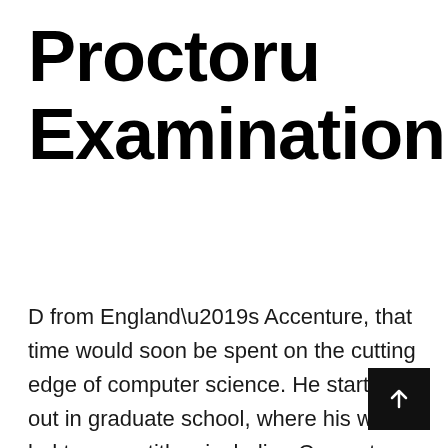Proctoru Examination
D from England’s Accenture, that time would soon be spent on the cutting edge of computer science. He started out in graduate school, where his work led to many titles, including Computer Science Master. In addition to his master’s degree, he is also a Ph.D. in computer science. He resides in Los Angeles, Calif., although he frequently travels around the United